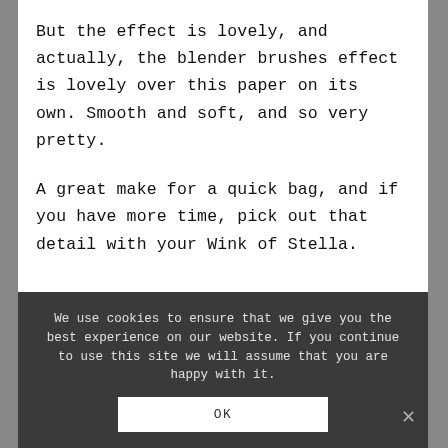But the effect is lovely, and actually, the blender brushes effect is lovely over this paper on its own. Smooth and soft, and so very pretty.
A great make for a quick bag, and if you have more time, pick out that detail with your Wink of Stella.
We use cookies to ensure that we give you the best experience on our website. If you continue to use this site we will assume that you are happy with it.
OK